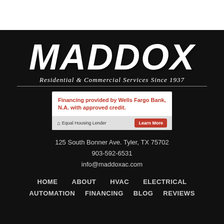[Figure (logo): Maddox logo with large italic white text 'MADDOX' on black background, subtitle 'Residential & Commercial Services Since 1937' in italic serif font, with horizontal rules]
[Figure (infographic): White financing box: 'Financing provided by Wells Fargo Bank, N.A. with approved credit.' in red bold text, with Equal Housing Lender icon and Learn More button]
125 South Bonner Ave. Tyler, TX 75702
903-592-6531
info@maddoxac.com
HOME   ABOUT   HVAC   ELECTRICAL   AUTOMATION   FINANCING   BLOG   REVIEWS